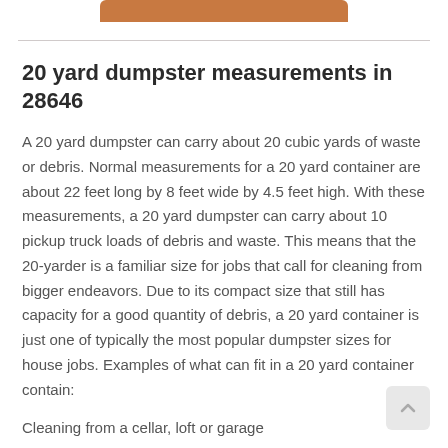[Figure (other): Orange/brown rounded rectangle bar at top, partially visible]
20 yard dumpster measurements in 28646
A 20 yard dumpster can carry about 20 cubic yards of waste or debris. Normal measurements for a 20 yard container are about 22 feet long by 8 feet wide by 4.5 feet high. With these measurements, a 20 yard dumpster can carry about 10 pickup truck loads of debris and waste. This means that the 20-yarder is a familiar size for jobs that call for cleaning from bigger endeavors. Due to its compact size that still has capacity for a good quantity of debris, a 20 yard container is just one of typically the most popular dumpster sizes for house jobs. Examples of what can fit in a 20 yard container contain:
Cleaning from a cellar, loft or garage